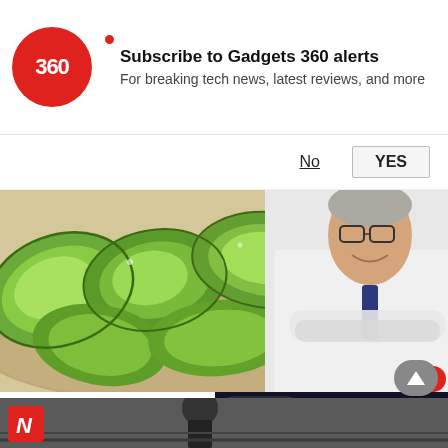Subscribe to Gadgets 360 alerts
For breaking tech news, latest reviews, and more
No  YES
[Figure (photo): Avocado toast with sliced avocados on bread, and a doctor in white coat with arms crossed]
Doctor Tells: Do You Have Too Much This Before Bed)
Gundry MD | Total Restore | Sponsored
[Figure (screenshot): iPhone 14 review roundup video thumbnail with play button on dark background]
[Figure (photo): Bottom strip showing a person and news logo with N]